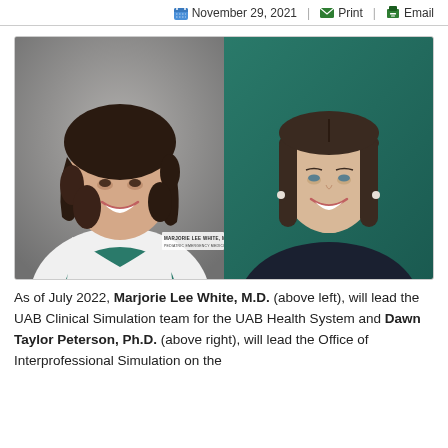November 29, 2021 | Print | Email
[Figure (photo): Two professional headshot photos side by side: left shows Marjorie Lee White, M.D. in a white doctor's coat over a teal top, with curly dark hair, smiling, against a gray background; right shows Dawn Taylor Peterson, Ph.D. with straight brown shoulder-length hair, smiling, against a teal background.]
As of July 2022, Marjorie Lee White, M.D. (above left), will lead the UAB Clinical Simulation team for the UAB Health System and Dawn Taylor Peterson, Ph.D. (above right), will lead the Office of Interprofessional Simulation on the